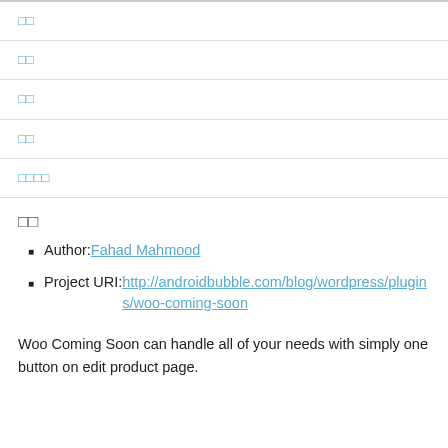□□
□□
□□
□□
□□□□
□□
Author: Fahad Mahmood
Project URI: http://androidbubble.com/blog/wordpress/plugins/woo-coming-soon
Woo Coming Soon can handle all of your needs with simply one button on edit product page.